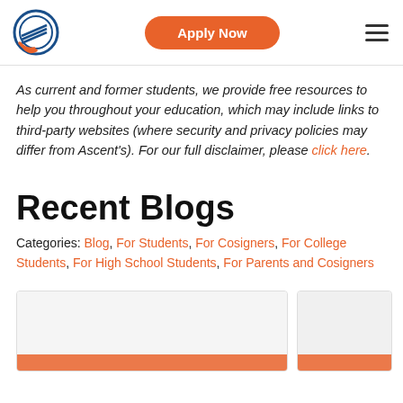Apply Now
As current and former students, we provide free resources to help you throughout your education, which may include links to third-party websites (where security and privacy policies may differ from Ascent's). For our full disclaimer, please click here.
Recent Blogs
Categories: Blog, For Students, For Cosigners, For College Students, For High School Students, For Parents and Cosigners
[Figure (other): Two blog card thumbnails partially visible at bottom of page]